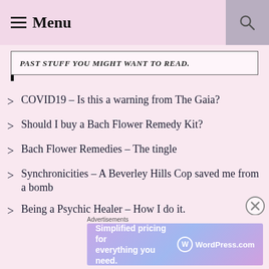Menu
PAST STUFF YOU MIGHT WANT TO READ.
COVID19 – Is this a warning from The Gaia?
Should I buy a Bach Flower Remedy Kit?
Bach Flower Remedies – The tingle
Synchronicities – A Beverley Hills Cop saved me from a bomb
Being a Psychic Healer – How I do it.
Advertisements
[Figure (screenshot): WordPress.com advertisement banner: 'Simplified pricing for everything you need.' with WordPress.com logo]